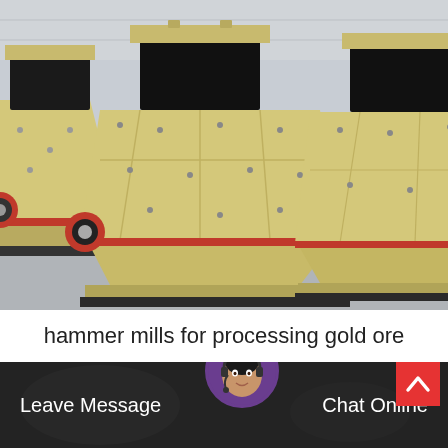[Figure (photo): Three large yellow/cream-colored hammer mill machines lined up in an industrial warehouse/factory setting. Machines have black rectangular feed openings at the top, red accents at the base, and bolt-pattern plating on the sides.]
hammer mills for processing gold ore
[Figure (photo): Dark bottom bar with blurred industrial background image, a customer service representative avatar in center, 'Leave Message' text on left, 'Chat Online' text on right]
Leave Message
Chat Online